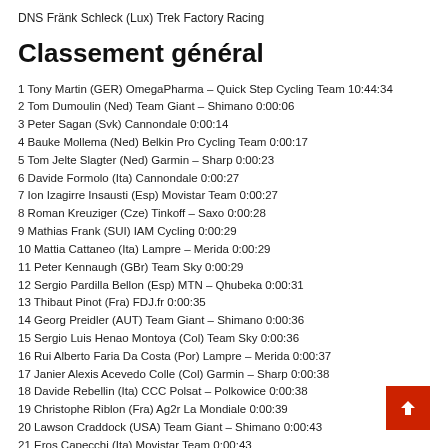DNS Fränk Schleck (Lux) Trek Factory Racing
Classement général
1 Tony Martin (GER) OmegaPharma – Quick Step Cycling Team 10:44:34
2 Tom Dumoulin (Ned) Team Giant – Shimano 0:00:06
3 Peter Sagan (Svk) Cannondale 0:00:14
4 Bauke Mollema (Ned) Belkin Pro Cycling Team 0:00:17
5 Tom Jelte Slagter (Ned) Garmin – Sharp 0:00:23
6 Davide Formolo (Ita) Cannondale 0:00:27
7 Ion Izagirre Insausti (Esp) Movistar Team 0:00:27
8 Roman Kreuziger (Cze) Tinkoff – Saxo 0:00:28
9 Mathias Frank (SUI) IAM Cycling 0:00:29
10 Mattia Cattaneo (Ita) Lampre – Merida 0:00:29
11 Peter Kennaugh (GBr) Team Sky 0:00:29
12 Sergio Pardilla Bellon (Esp) MTN – Qhubeka 0:00:31
13 Thibaut Pinot (Fra) FDJ.fr 0:00:35
14 Georg Preidler (AUT) Team Giant – Shimano 0:00:36
15 Sergio Luis Henao Montoya (Col) Team Sky 0:00:36
16 Rui Alberto Faria Da Costa (Por) Lampre – Merida 0:00:37
17 Janier Alexis Acevedo Colle (Col) Garmin – Sharp 0:00:38
18 Davide Rebellin (Ita) CCC Polsat – Polkowice 0:00:38
19 Christophe Riblon (Fra) Ag2r La Mondiale 0:00:39
20 Lawson Craddock (USA) Team Giant – Shimano 0:00:43
21 Eros Capecchi (Ita) Movistar Team 0:00:43
22 Marcel Wyss (SUI) IAM Cycling 0:00:44
23 Laurens Ten Dam (Ned) Belkin Pro Cycling Team 0:00:44